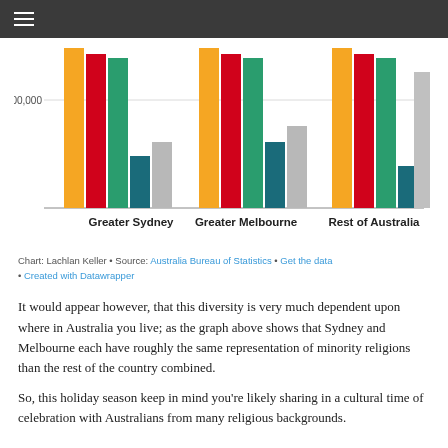[Figure (grouped-bar-chart): Religious minorities by region]
Chart: Lachlan Keller • Source: Australia Bureau of Statistics • Get the data • Created with Datawrapper
It would appear however, that this diversity is very much dependent upon where in Australia you live; as the graph above shows that Sydney and Melbourne each have roughly the same representation of minority religions than the rest of the country combined.
So, this holiday season keep in mind you're likely sharing in a cultural time of celebration with Australians from many religious backgrounds.